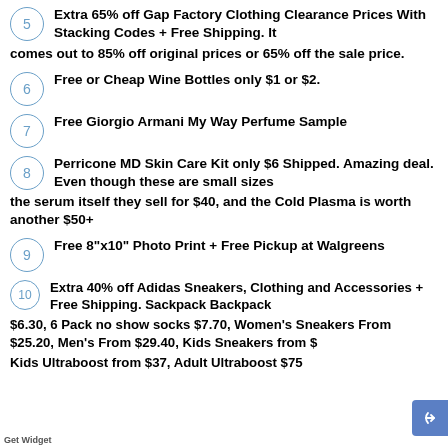5 Extra 65% off Gap Factory Clothing Clearance Prices With Stacking Codes + Free Shipping. It comes out to 85% off original prices or 65% off the sale price.
6 Free or Cheap Wine Bottles only $1 or $2.
7 Free Giorgio Armani My Way Perfume Sample
8 Perricone MD Skin Care Kit only $6 Shipped. Amazing deal. Even though these are small sizes the serum itself they sell for $40, and the Cold Plasma is worth another $50+
9 Free 8"x10" Photo Print + Free Pickup at Walgreens
10 Extra 40% off Adidas Sneakers, Clothing and Accessories + Free Shipping. Sackpack Backpack $6.30, 6 Pack no show socks $7.70, Women's Sneakers From $25.20, Men's From $29.40, Kids Sneakers from $, Kids Ultraboost from $37, Adult Ultraboost $75